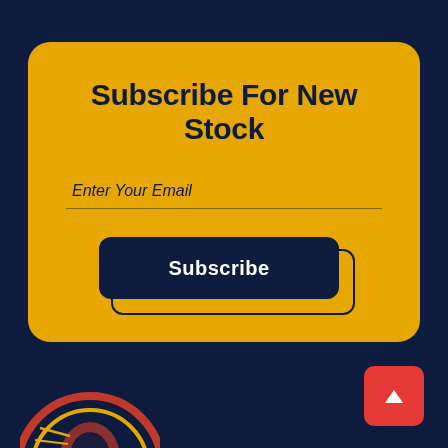Subscribe For New Stock
Enter Your Email
Subscribe
[Figure (logo): Partial circular logo in red/yellow on dark navy background, bottom left corner]
[Figure (other): Red square back-to-top button with white upward chevron arrow, bottom right corner]